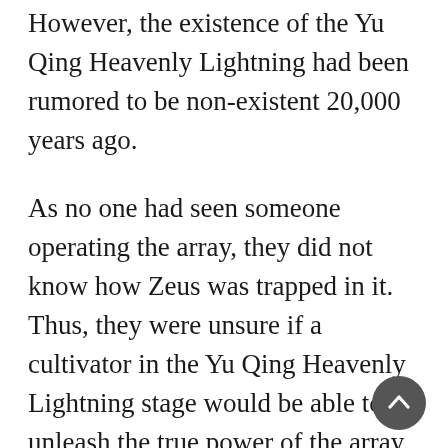However, the existence of the Yu Qing Heavenly Lightning had been rumored to be non-existent 20,000 years ago.
As no one had seen someone operating the array, they did not know how Zeus was trapped in it. Thus, they were unsure if a cultivator in the Yu Qing Heavenly Lightning stage would be able to unleash the true power of the array.
"The array guardians have yet to appear, as you have stated, because they are unwilling to assist us. We can't stand by and must fight for a way to live. Elders, we have an opportunity right now. We can kill Yang Chen if he dares to enter the illusionary dimension as long as Hongmeng